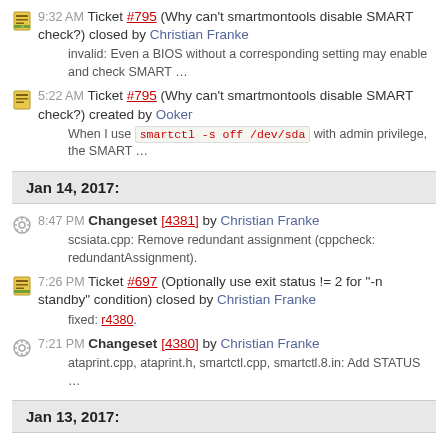9:32 AM Ticket #795 (Why can't smartmontools disable SMART check?) closed by Christian Franke
invalid: Even a BIOS without a corresponding setting may enable and check SMART ...
5:22 AM Ticket #795 (Why can't smartmontools disable SMART check?) created by Ooker
When I use smartctl -s off /dev/sda with admin privilege, the SMART ...
Jan 14, 2017:
8:47 PM Changeset [4381] by Christian Franke
scsiata.cpp: Remove redundant assignment (cppcheck: redundantAssignment).
7:26 PM Ticket #697 (Optionally use exit status != 2 for "-n standby" condition) closed by Christian Franke
fixed: r4380.
7:21 PM Changeset [4380] by Christian Franke
ataprint.cpp, ataprint.h, smartctl.cpp, smartctl.8.in: Add STATUS ...
Jan 13, 2017: